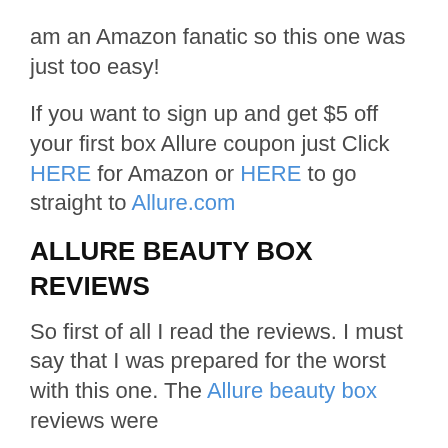am an Amazon fanatic so this one was just too easy!
If you want to sign up and get $5 off your first box Allure coupon just Click HERE for Amazon or HERE to go straight to Allure.com
ALLURE BEAUTY BOX
REVIEWS
So first of all I read the reviews. I must say that I was prepared for the worst with this one. The Allure beauty box reviews were